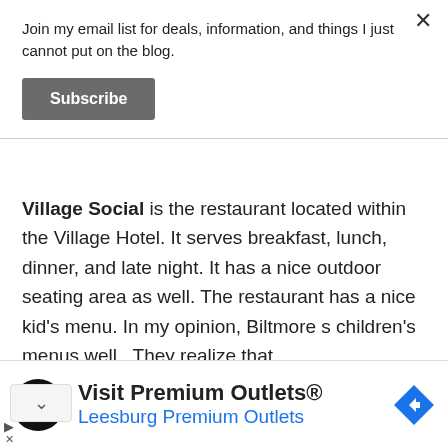Join my email list for deals, information, and things I just cannot put on the blog.
[Figure (screenshot): Subscribe button - dark gray rectangular button with white bold text reading 'Subscribe']
Village Social is the restaurant located within the Village Hotel. It serves breakfast, lunch, dinner, and late night. It has a nice outdoor seating area as well. The restaurant has a nice kid's menu. In my opinion, Biltmore s children's menus well. They realize that
[Figure (screenshot): Advertisement banner: Visit Premium Outlets® Leesburg Premium Outlets, with circular black logo showing arrows icon and a blue diamond navigation arrow icon on the right]